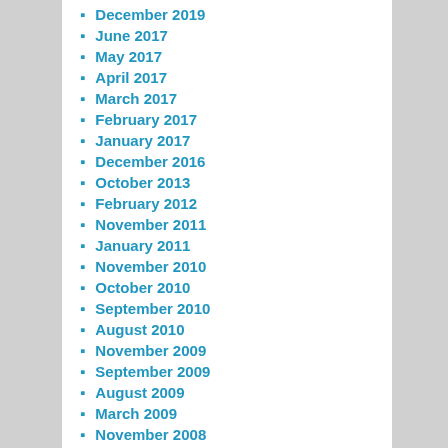December 2019
June 2017
May 2017
April 2017
March 2017
February 2017
January 2017
December 2016
October 2013
February 2012
November 2011
January 2011
November 2010
October 2010
September 2010
August 2010
November 2009
September 2009
August 2009
March 2009
November 2008